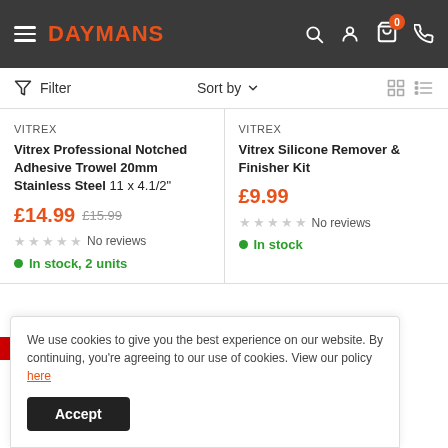DAYMANS
Filter   Sort by
VITREX
Vitrex Professional Notched Adhesive Trowel 20mm Stainless Steel 11 x 4.1/2"
£14.99  £15.99
★★★★★ No reviews
In stock, 2 units
VITREX
Vitrex Silicone Remover & Finisher Kit
£9.99
★★★★★ No reviews
In stock
We use cookies to give you the best experience on our website. By continuing, you're agreeing to our use of cookies. View our policy here
Accept